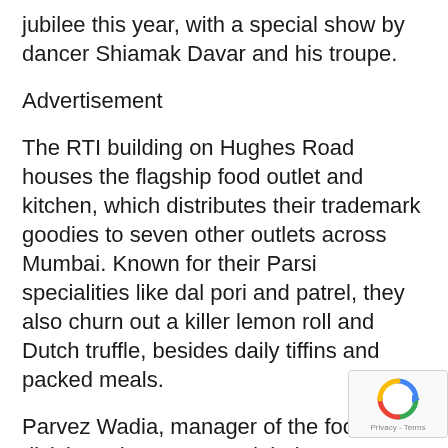jubilee this year, with a special show by dancer Shiamak Davar and his troupe.
Advertisement
The RTI building on Hughes Road houses the flagship food outlet and kitchen, which distributes their trademark goodies to seven other outlets across Mumbai. Known for their Parsi specialities like dal pori and patrel, they also churn out a killer lemon roll and Dutch truffle, besides daily tiffins and packed meals.
Parvez Wadia, manager of the food division takes us around their two-storey kitchen, where the 80-plus staff are filling tart moulds, rolling out cookie dough and mixing cream with dark chocolate to dress cakes. Wadia says this Diwali was quite productive; 3,000 kg of chocolate were sold.